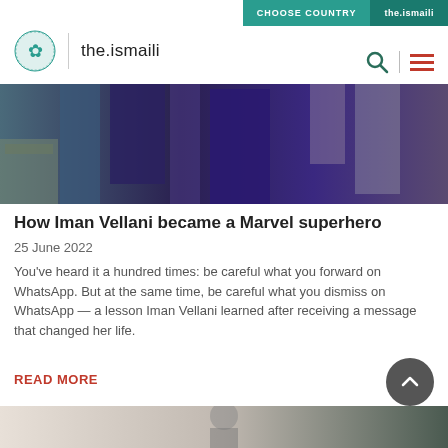CHOOSE COUNTRY | the.ismaili
[Figure (logo): the.ismaili website logo with circular teal floral emblem and text 'the.ismaili']
[Figure (photo): Dark purple/blue toned photo showing hanging clothes or fabric in a room]
How Iman Vellani became a Marvel superhero
25 June 2022
You've heard it a hundred times: be careful what you forward on WhatsApp. But at the same time, be careful what you dismiss on WhatsApp — a lesson Iman Vellani learned after receiving a message that changed her life.
READ MORE
[Figure (photo): Bottom partial image strip showing a person]